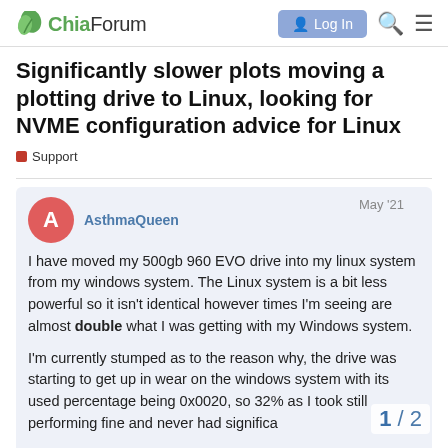ChiaForum | Log In
Significantly slower plots moving a plotting drive to Linux, looking for NVME configuration advice for Linux
Support
AsthmaQueen  May '21
I have moved my 500gb 960 EVO drive into my linux system from my windows system. The Linux system is a bit less powerful so it isn't identical however times I'm seeing are almost double what I was getting with my Windows system.
I'm currently stumped as to the reason why, the drive was starting to get up in wear on the windows system with its used percentage being 0x0020, so 32% as I took still performing fine and never had significa
1 / 2